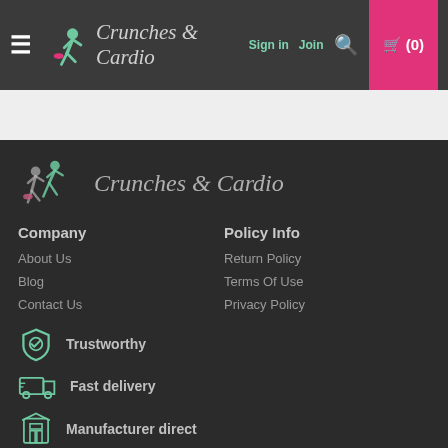Crunches & Cardio — navigation header with Sign in, Join, search, and cart (0)
[Figure (logo): Crunches & Cardio logo in dark footer with running woman silhouette]
Company
About Us
Blog
Contact Us
Policy Info
Return Policy
Terms Of Use
Privacy Policy
Trustworthy
Fast delivery
Manufacturer direct